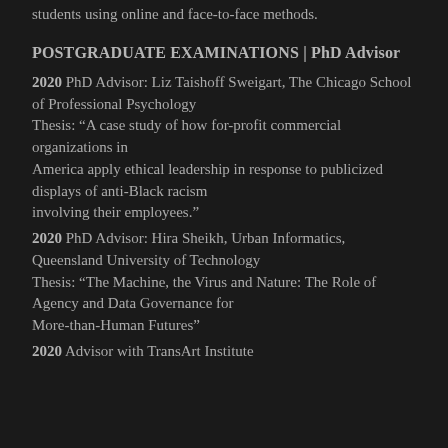students using online and face-to-face methods.
POSTGRADUATE EXAMINATIONS | PhD Advisor
2020 PhD Advisor: Liz Taishoff Sweigart, The Chicago School of Professional Psychology
Thesis: “A case study of how for-profit commercial organizations in America apply ethical leadership in response to publicized displays of anti-Black racism involving their employees.”
2020 PhD Advisor: Hira Sheikh, Urban Informatics, Queensland University of Technology
Thesis: “The Machine, the Virus and Nature: The Role of Agency and Data Governance for More-than-Human Futures”
2020 Advisor with TransArt Institute